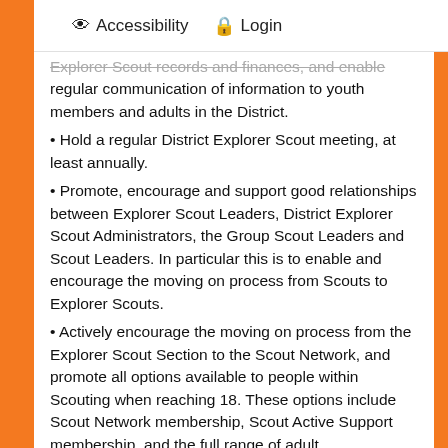Accessibility  Login
Explorer Scout records and finances, and enable regular communication of information to youth members and adults in the District.
Hold a regular District Explorer Scout meeting, at least annually.
Promote, encourage and support good relationships between Explorer Scout Leaders, District Explorer Scout Administrators, the Group Scout Leaders and Scout Leaders. In particular this is to enable and encourage the moving on process from Scouts to Explorer Scouts.
Actively encourage the moving on process from the Explorer Scout Section to the Scout Network, and promote all options available to people within Scouting when reaching 18. These options include Scout Network membership, Scout Active Support membership, and the full range of adult appointments.
Follow the District's financial procedures.
Attend and contribute to relevant District and County meetings. These may include meetings of the District Scout Council, District Explorer Scout